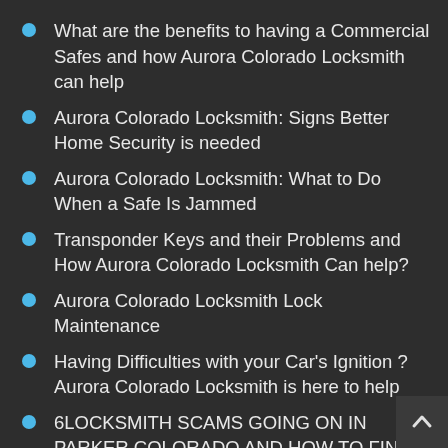What are the benefits to having a Commercial Safes and how Aurora Colorado Locksmith can help
Aurora Colorado Locksmith: Signs Better Home Security is needed
Aurora Colorado Locksmith: What to Do When a Safe Is Jammed
Transponder Keys and their Problems and How Aurora Colorado Locksmith Can help?
Aurora Colorado Locksmith Lock Maintenance
Having Difficulties with your Car's Ignition ? Aurora Colorado Locksmith is here to help
6LOCKSMITH SCAMS GOING ON IN PARKER COLORADO AND HOW TO FIND THE BEST LOCKSMITH
6LOCKSMITH SCAMS GOING ON IN NORTHGLENN COLORADO AND HOW TO FIND THE BEST